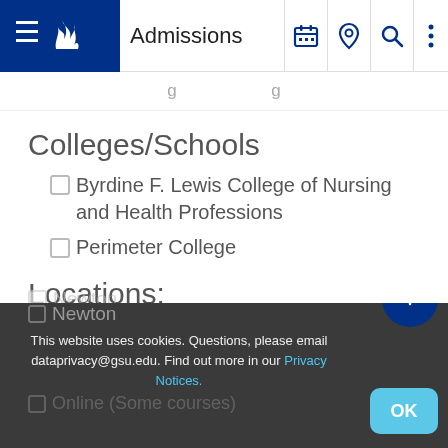Admissions
Colleges/Schools
Byrdine F. Lewis College of Nursing and Health Professions
Perimeter College
Locations:
Alpharetta
Clarkston
Decatur
Dunwoody
Newton
This website uses cookies. Questions, please email dataprivacy@gsu.edu. Find out more in our Privacy Notices.